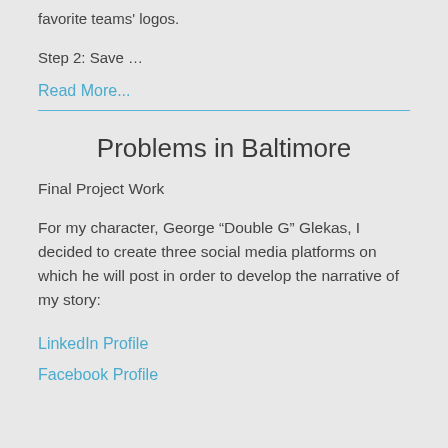favorite teams' logos.
Step 2: Save ...
Read More...
Problems in Baltimore
Final Project Work
For my character, George “Double G” Glekas, I decided to create three social media platforms on which he will post in order to develop the narrative of my story:
LinkedIn Profile
Facebook Profile